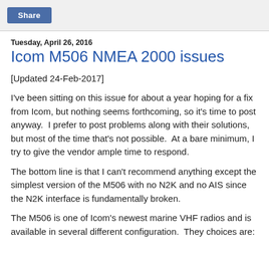[Figure (other): Share button in a light gray top bar area]
Tuesday, April 26, 2016
Icom M506 NMEA 2000 issues
[Updated 24-Feb-2017]
I've been sitting on this issue for about a year hoping for a fix from Icom, but nothing seems forthcoming, so it's time to post anyway.  I prefer to post problems along with their solutions, but most of the time that's not possible.  At a bare minimum, I try to give the vendor ample time to respond.
The bottom line is that I can't recommend anything except the simplest version of the M506 with no N2K and no AIS since the N2K interface is fundamentally broken.
The M506 is one of Icom's newest marine VHF radios and is available in several different configuration.  They choices are: